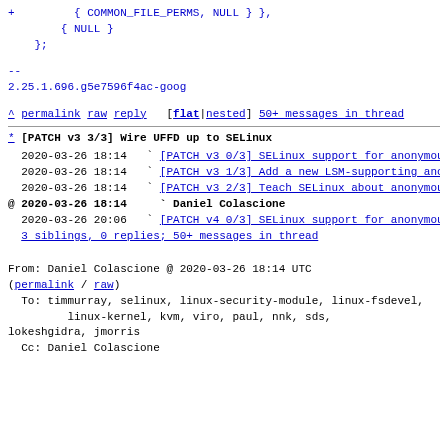+         { COMMON_FILE_PERMS, NULL } },
        { NULL }
    };
--
2.25.1.696.g5e7596f4ac-goog
^ permalink raw reply   [flat|nested] 50+ messages in thread
* [PATCH v3 3/3] Wire UFFD up to SELinux
2020-03-26 18:14   ` [PATCH v3 0/3] SELinux support for anonymous inodes and UFFD Daniel Colascione
  2020-03-26 18:14   ` [PATCH v3 1/3] Add a new LSM-supporting anonymous inode interface Daniel Colascione
  2020-03-26 18:14   ` [PATCH v3 2/3] Teach SELinux about anonymous inodes Daniel Colascione
@ 2020-03-26 18:14     ` Daniel Colascione
  2020-03-26 20:06   ` [PATCH v4 0/3] SELinux support for anonymous inodes and UFFD Daniel Colascione
  3 siblings, 0 replies; 50+ messages in thread
From: Daniel Colascione @ 2020-03-26 18:14 UTC (permalink / raw)
  To: timmurray, selinux, linux-security-module, linux-fsdevel,
         linux-kernel, kvm, viro, paul, nnk, sds, lokeshgidra, jmorris
  Cc: Daniel Colascione